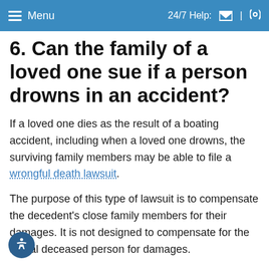Menu | 24/7 Help:
6. Can the family of a loved one sue if a person drowns in an accident?
If a loved one dies as the result of a boating accident, including when a loved one drowns, the surviving family members may be able to file a wrongful death lawsuit.
The purpose of this type of lawsuit is to compensate the decedent’s close family members for their damages. It is not designed to compensate for the actual deceased person for damages.